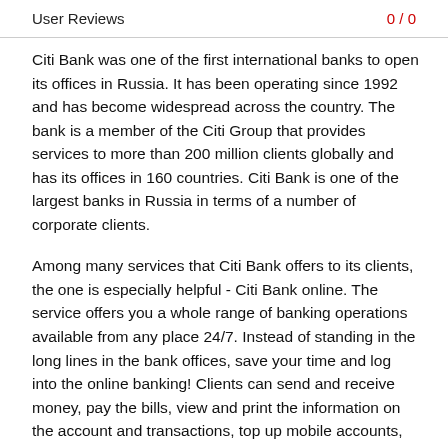User Reviews
0 / 0
Citi Bank was one of the first international banks to open its offices in Russia. It has been operating since 1992 and has become widespread across the country. The bank is a member of the Citi Group that provides services to more than 200 million clients globally and has its offices in 160 countries. Citi Bank is one of the largest banks in Russia in terms of a number of corporate clients.
Among many services that Citi Bank offers to its clients, the one is especially helpful - Citi Bank online. The service offers you a whole range of banking operations available from any place 24/7. Instead of standing in the long lines in the bank offices, save your time and log into the online banking! Clients can send and receive money, pay the bills, view and print the information on the account and transactions, top up mobile accounts, make credit repayments, block their cards, apply